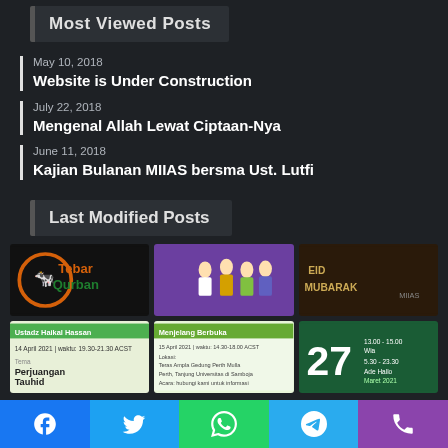Most Viewed Posts
May 10, 2018
Website is Under Construction
July 22, 2018
Mengenal Allah Lewat Ciptaan-Nya
June 11, 2018
Kajian Bulanan MIIAS bersma Ust. Lutfi
Last Modified Posts
[Figure (photo): Tebar Qurban logo - orange circular logo with green text]
[Figure (illustration): Group of people in Islamic clothing illustration on purple background]
[Figure (photo): Eid Mubarak decorative banner text on dark background]
[Figure (infographic): Ustadz Haikal Hassan - Perjuangan Tauhid event poster on light green background]
[Figure (infographic): Menjelang Berbuka event poster on light background]
[Figure (infographic): Event poster with number 27 on dark green background]
Facebook | Twitter | WhatsApp | Telegram | Phone